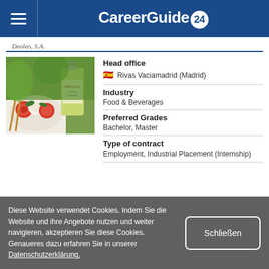CareerGuide 24
Deoleo, S.A.
[Figure (photo): Photo of caprese salad with tomatoes and mozzarella on a white plate, alongside a bottle of Bertolli Extra Virgin olive oil, with green vegetables in the background.]
Head office
Rivas Vaciamadrid (Madrid)
Industry
Food & Beverages
Preferred Grades
Bachelor, Master
Type of contract
Employment, Industrial Placement (Internship)
Diese Website verwendet Cookies. Indem Sie die Website und ihre Angebote nutzen und weiter navigieren, akzeptieren Sie diese Cookies. Genaueres dazu erfahren Sie in unserer Datenschutzerklärung.